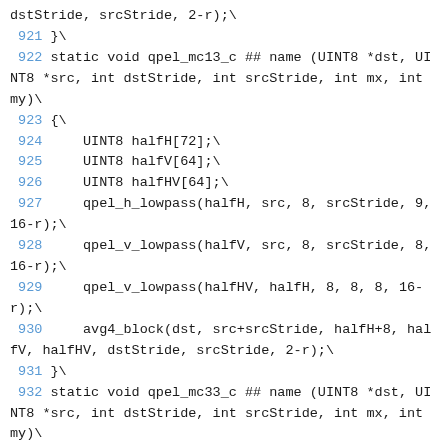dstStride, srcStride, 2-r);\
 921 }\
 922 static void qpel_mc13_c ## name (UINT8 *dst, UINT8 *src, int dstStride, int srcStride, int mx, int my)\
 923 {\
 924     UINT8 halfH[72];\
 925     UINT8 halfV[64];\
 926     UINT8 halfHV[64];\
 927     qpel_h_lowpass(halfH, src, 8, srcStride, 9, 16-r);\
 928     qpel_v_lowpass(halfV, src, 8, srcStride, 8, 16-r);\
 929     qpel_v_lowpass(halfHV, halfH, 8, 8, 8, 16-r);\
 930     avg4_block(dst, src+srcStride, halfH+8, halfV, halfHV, dstStride, srcStride, 2-r);\
 931 }\
 932 static void qpel_mc33_c ## name (UINT8 *dst, UINT8 *src, int dstStride, int srcStride, int mx, int my)\
 933 {\
 934     UINT8 halfH[72];\
 935     UINT8 halfV[64];\
 936     UINT8 halfHV[64];\